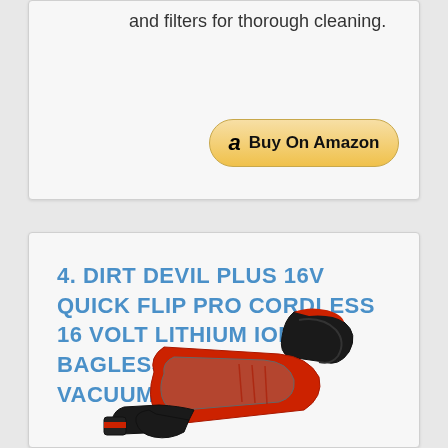and filters for thorough cleaning.
[Figure (other): Buy On Amazon button with Amazon logo]
4. DIRT DEVIL PLUS 16V QUICK FLIP PRO CORDLESS 16 VOLT LITHIUM ION BAGLESS HANDHELD VACUUM CLEANER
[Figure (photo): Photo of a red and black Dirt Devil handheld vacuum cleaner]